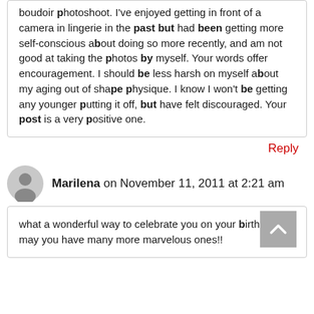boudoir photoshoot. I've enjoyed getting in front of a camera in lingerie in the past but had been getting more self-conscious about doing so more recently, and am not good at taking the photos by myself. Your words offer encouragement. I should be less harsh on myself about my aging out of shape physique. I know I won't be getting any younger putting it off, but have felt discouraged. Your post is a very positive one.
Reply
Marilena on November 11, 2011 at 2:21 am
what a wonderful way to celebrate you on your birthday! may you have many more marvelous ones!!